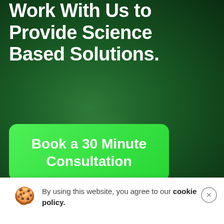Work With Us to Provide Science Based Solutions.
Book a 30 Minute Consultation
By using this website, you agree to our cookie policy.